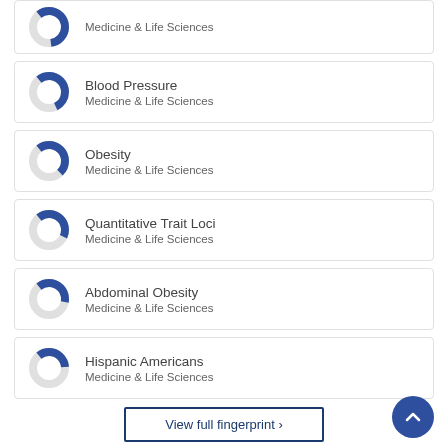Medicine & Life Sciences
Blood Pressure
Medicine & Life Sciences
Obesity
Medicine & Life Sciences
Quantitative Trait Loci
Medicine & Life Sciences
Abdominal Obesity
Medicine & Life Sciences
Hispanic Americans
Medicine & Life Sciences
View full fingerprint ›